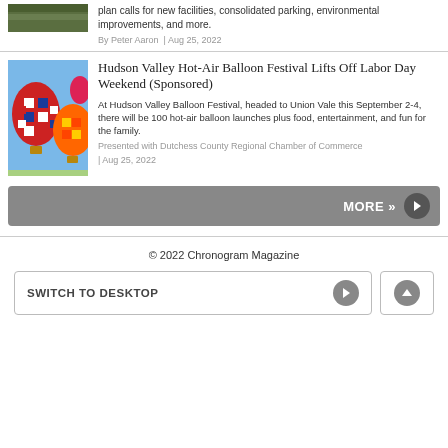plan calls for new facilities, consolidated parking, environmental improvements, and more.
By Peter Aaron | Aug 25, 2022
[Figure (photo): Hot-air balloons with red, white and blue checkered pattern against blue sky]
Hudson Valley Hot-Air Balloon Festival Lifts Off Labor Day Weekend (Sponsored)
At Hudson Valley Balloon Festival, headed to Union Vale this September 2-4, there will be 100 hot-air balloon launches plus food, entertainment, and fun for the family.
Presented with Dutchess County Regional Chamber of Commerce
| Aug 25, 2022
MORE »
© 2022 Chronogram Magazine
SWITCH TO DESKTOP